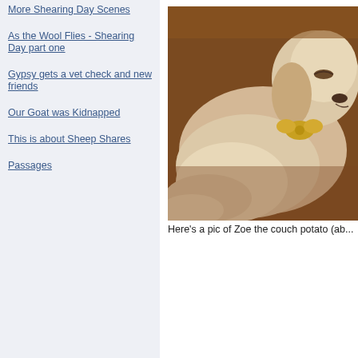More Shearing Day Scenes
As the Wool Flies - Shearing Day part one
Gypsy gets a vet check and new friends
Our Goat was Kidnapped
This is about Sheep Shares
Passages
[Figure (photo): A golden retriever dog lounging on a brown couch, curled up with fluffy fur visible, wearing what appears to be a gold bow or decoration near its neck.]
Here's a pic of Zoe the couch potato (ab...